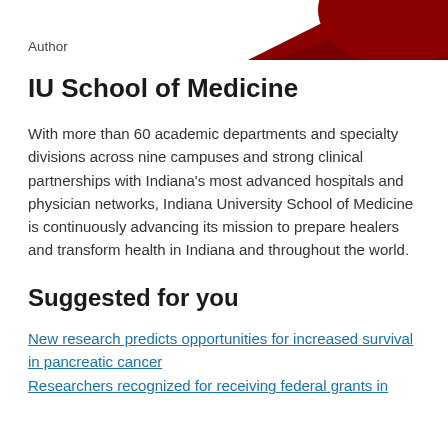[Figure (illustration): Dark red decorative arc/wave shape in the top-right corner of the page]
Author
IU School of Medicine
With more than 60 academic departments and specialty divisions across nine campuses and strong clinical partnerships with Indiana's most advanced hospitals and physician networks, Indiana University School of Medicine is continuously advancing its mission to prepare healers and transform health in Indiana and throughout the world.
Suggested for you
New research predicts opportunities for increased survival in pancreatic cancer
Researchers recognized for receiving federal grants in